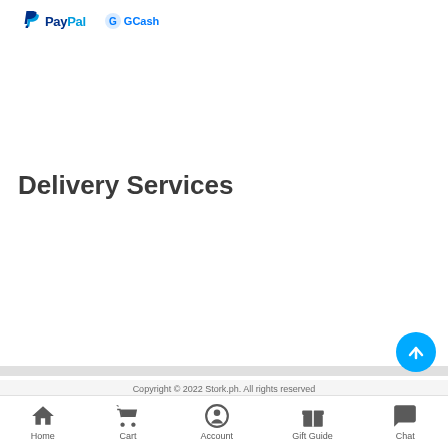[Figure (logo): PayPal and GCash payment method logos at the top of the page]
Delivery Services
Copyright © 2022 Stork.ph. All rights reserved
[Figure (other): Bottom navigation bar with Home, Cart, Account, Gift Guide, and Chat icons]